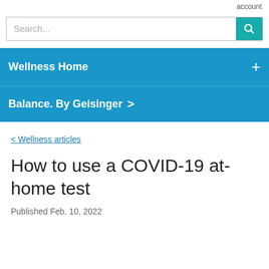account
Search...
Wellness Home +
Balance. By Geisinger >
< Wellness articles
How to use a COVID-19 at-home test
Published Feb. 10, 2022